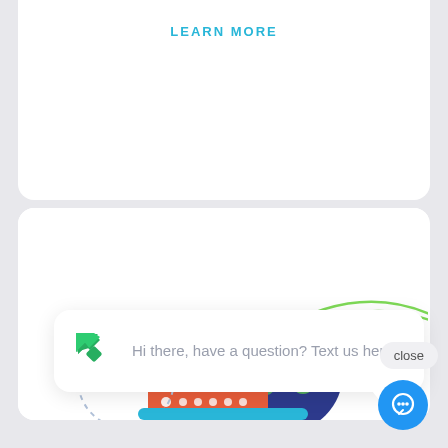LEARN MORE
[Figure (illustration): Illustration showing a server rack (orange/red), a globe (dark blue/purple with green continents), and a green arc above them on a white card background.]
close
Hi there, have a question? Text us here.
[Figure (illustration): Blue circular chat/message FAB button with white speech bubble icon at bottom right.]